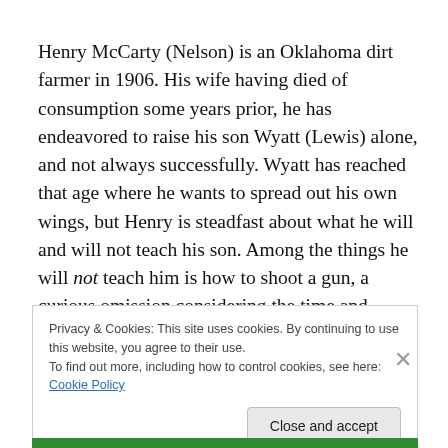Henry McCarty (Nelson) is an Oklahoma dirt farmer in 1906. His wife having died of consumption some years prior, he has endeavored to raise his son Wyatt (Lewis) alone, and not always successfully. Wyatt has reached that age where he wants to spread out his own wings, but Henry is steadfast about what he will and will not teach his son. Among the things he will not teach him is how to shoot a gun, a curious omission considering the time and
Privacy & Cookies: This site uses cookies. By continuing to use this website, you agree to their use.
To find out more, including how to control cookies, see here: Cookie Policy
Close and accept